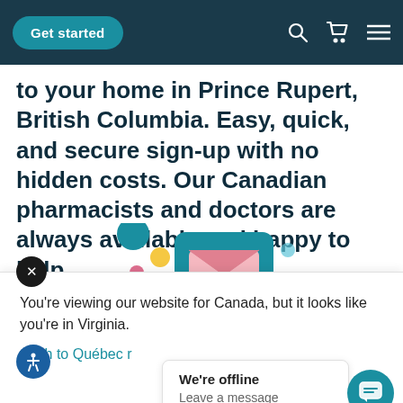Get started
to your home in Prince Rupert, British Columbia. Easy, quick, and secure sign-up with no hidden costs. Our Canadian pharmacists and doctors are always available and happy to help.
[Figure (illustration): Colorful illustration showing a smartphone with a prescription envelope, surrounded by decorative colored circles and pill icons in teal, pink, yellow, and blue colors.]
You're viewing our website for Canada, but it looks like you're in Virginia.
witch to Québec r
We're offline
Leave a message